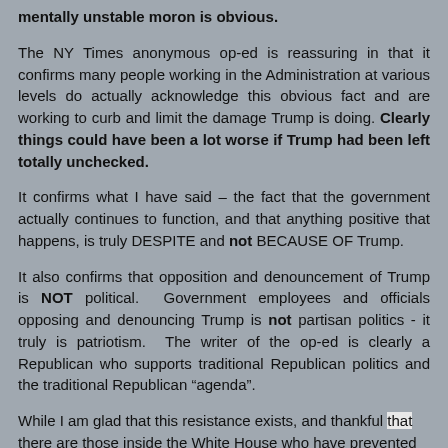mentally unstable moron is obvious.
The NY Times anonymous op-ed is reassuring in that it confirms many people working in the Administration at various levels do actually acknowledge this obvious fact and are working to curb and limit the damage Trump is doing. Clearly things could have been a lot worse if Trump had been left totally unchecked.
It confirms what I have said – the fact that the government actually continues to function, and that anything positive that happens, is truly DESPITE and not BECAUSE OF Trump.
It also confirms that opposition and denouncement of Trump is NOT political. Government employees and officials opposing and denouncing Trump is not partisan politics - it truly is patriotism. The writer of the op-ed is clearly a Republican who supports traditional Republican politics and the traditional Republican “agenda”.
While I am glad that this resistance exists, and thankful that there are those inside the White House who have prevented